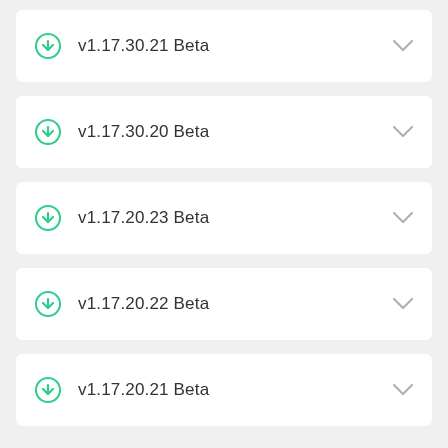v1.17.30.21 Beta
v1.17.30.20 Beta
v1.17.20.23 Beta
v1.17.20.22 Beta
v1.17.20.21 Beta